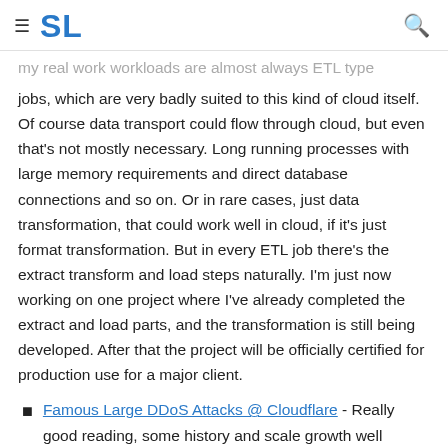SL
my real work workloads are almost always ETL type jobs, which are very badly suited to this kind of cloud itself. Of course data transport could flow through cloud, but even that's not mostly necessary. Long running processes with large memory requirements and direct database connections and so on. Or in rare cases, just data transformation, that could work well in cloud, if it's just format transformation. But in every ETL job there's the extract transform and load steps naturally. I'm just now working on one project where I've already completed the extract and load parts, and the transformation is still being developed. After that the project will be officially certified for production use for a major client.
Famous Large DDoS Attacks @ Cloudflare - Really good reading, some history and scale growth well presented.
interesting. Cloudflare got their...